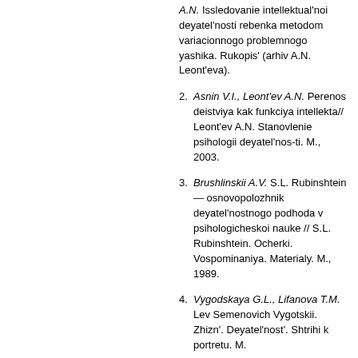A.N. Issledovanie intellektual'noi deyatel'nosti rebenka metodom variacionnogo problemnogo yashika. Rukopis' (arhiv A.N. Leont'eva).
2. Asnin V.I., Leont'ev A.N. Perenos deistviya kak funkciya intellekta// Leont'ev A.N. Stanovlenie psihologii deyatel'nos-ti. M., 2003.
3. Brushlinskii A.V. S.L. Rubinshtein — osnovopolozhnik deyatel'nostnogo podhoda v psihologicheskoi nauke // S.L. Rubinshtein. Ocherki. Vospominaniya. Materialy. M., 1989.
4. Vygodskaya G.L., Lifanova T.M. Lev Semenovich Vygotskii. Zhizn'. Deyatel'nost'. Shtrihi k portretu. M.